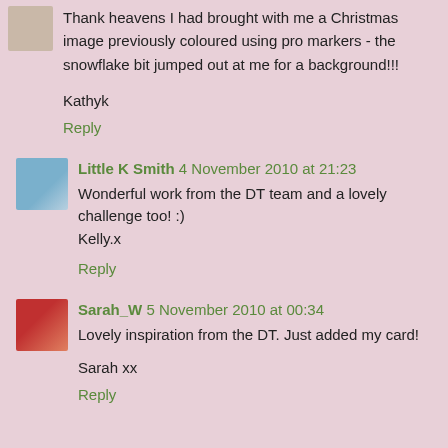Thank heavens I had brought with me a Christmas image previously coloured using pro markers - the snowflake bit jumped out at me for a background!!!
Kathyk
Reply
Little K Smith 4 November 2010 at 21:23
Wonderful work from the DT team and a lovely challenge too! :)
Kelly.x
Reply
Sarah_W 5 November 2010 at 00:34
Lovely inspiration from the DT. Just added my card!
Sarah xx
Reply